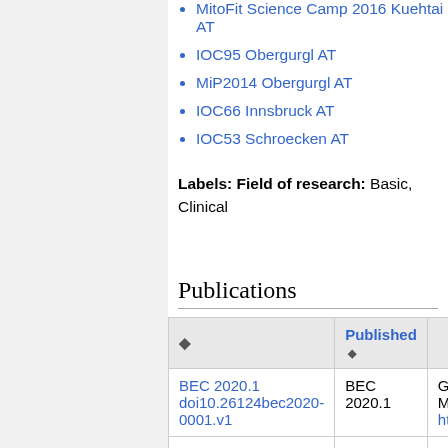MitoFit Science Camp 2016 Kuehtai AT
IOC95 Obergurgl AT
MiP2014 Obergurgl AT
IOC66 Innsbruck AT
IOC53 Schroecken AT
Labels: Field of research: Basic, Clinical
Publications
|  | Published |  |
| --- | --- | --- |
| BEC 2020.1 doi10.26124bec2020-0001.v1 | BEC 2020.1 | Gna... Mito... http... |
|  |  | Doc... |